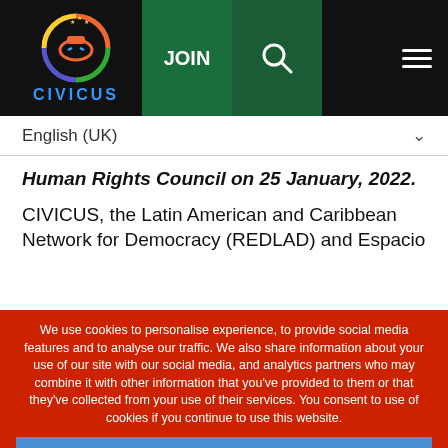[Figure (logo): CIVICUS logo with colorful circular icon and blue text reading CIVICUS]
JOIN  [search icon]  [menu icon]
English (UK)
Human Rights Council on 25 January, 2022.
CIVICUS, the Latin American and Caribbean Network for Democracy (REDLAD) and Espacio
We use cookies to personalise experience, to provide social media features and to analyse our traffic. We also share information about your use of our site with our social media, and analytics partners who may combine it with other information that you've provided to them or that they've collected from your use of their services. You consent to use of cookies if you continue to use this website.
Ok
Decline
Settings